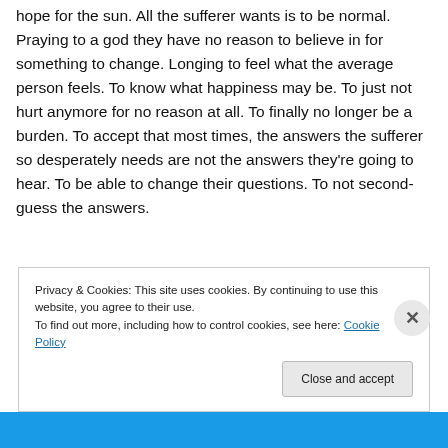hope for the sun. All the sufferer wants is to be normal. Praying to a god they have no reason to believe in for something to change. Longing to feel what the average person feels. To know what happiness may be. To just not hurt anymore for no reason at all. To finally no longer be a burden. To accept that most times, the answers the sufferer so desperately needs are not the answers they're going to hear. To be able to change their questions. To not second-guess the answers.
Privacy & Cookies: This site uses cookies. By continuing to use this website, you agree to their use. To find out more, including how to control cookies, see here: Cookie Policy